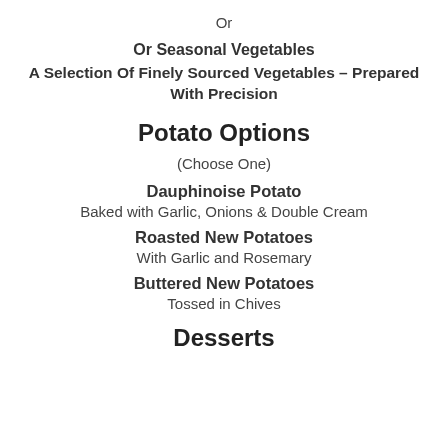Or
Or Seasonal Vegetables
A Selection Of Finely Sourced Vegetables – Prepared With Precision
Potato Options
(Choose One)
Dauphinoise Potato
Baked with Garlic, Onions & Double Cream
Roasted New Potatoes
With Garlic and Rosemary
Buttered New Potatoes
Tossed in Chives
Desserts